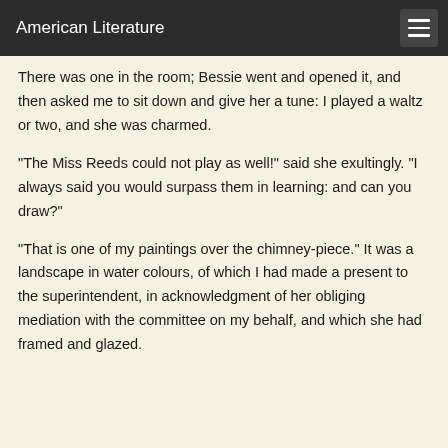American Literature
There was one in the room; Bessie went and opened it, and then asked me to sit down and give her a tune: I played a waltz or two, and she was charmed.
"The Miss Reeds could not play as well!" said she exultingly. "I always said you would surpass them in learning: and can you draw?"
"That is one of my paintings over the chimney-piece." It was a landscape in water colours, of which I had made a present to the superintendent, in acknowledgment of her obliging mediation with the committee on my behalf, and which she had framed and glazed.